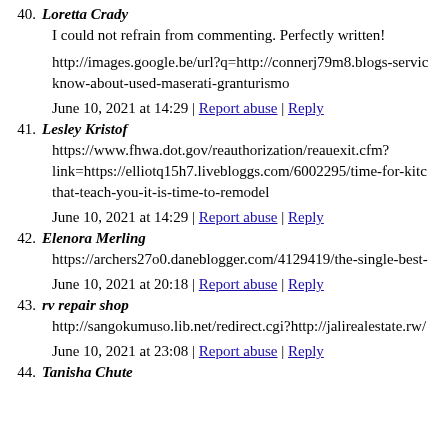40. Loretta Crady
I could not refrain from commenting. Perfectly written!
http://images.google.be/url?q=http://connerj79m8.blogs-service know-about-used-maserati-granturismo
June 10, 2021 at 14:29 | Report abuse | Reply
41. Lesley Kristof
https://www.fhwa.dot.gov/reauthorization/reauexit.cfm?link=https://elliotq15h7.livebloggs.com/6002295/time-for-kitc that-teach-you-it-is-time-to-remodel
June 10, 2021 at 14:29 | Report abuse | Reply
42. Elenora Merling
https://archers27o0.daneblogger.com/4129419/the-single-best-
June 10, 2021 at 20:18 | Report abuse | Reply
43. rv repair shop
http://sangokumuso.lib.net/redirect.cgi?http://jalirealestate.rw/
June 10, 2021 at 23:08 | Report abuse | Reply
44. Tanisha Chute